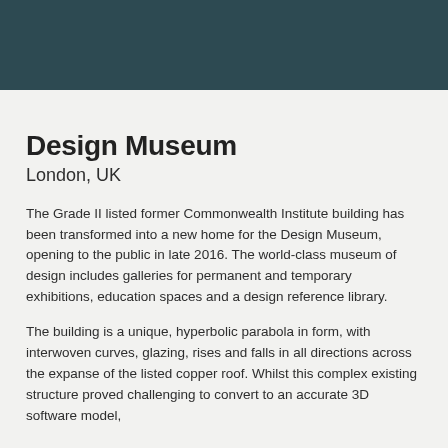Design Museum
London, UK
The Grade II listed former Commonwealth Institute building has been transformed into a new home for the Design Museum, opening to the public in late 2016. The world-class museum of design includes galleries for permanent and temporary exhibitions, education spaces and a design reference library.
The building is a unique, hyperbolic parabola in form, with interwoven curves, glazing, rises and falls in all directions across the expanse of the listed copper roof. Whilst this complex existing structure proved challenging to convert to an accurate 3D software model,